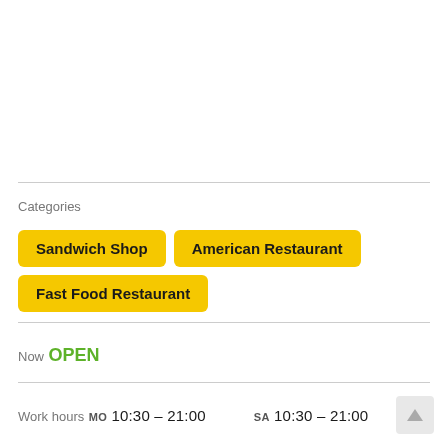Categories
Sandwich Shop
American Restaurant
Fast Food Restaurant
Now
OPEN
Work hours
MO 10:30 – 21:00   SA 10:30 – 21:00